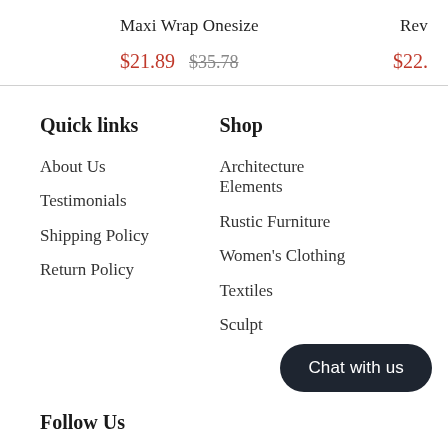Maxi Wrap Onesize
$21.89  $35.78
Quick links
About Us
Testimonials
Shipping Policy
Return Policy
Shop
Architecture Elements
Rustic Furniture
Women's Clothing
Textiles
Sculpt
Follow Us
Chat with us